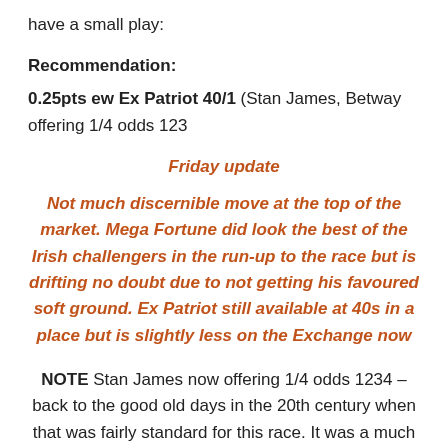have a small play:
Recommendation:
0.25pts ew Ex Patriot 40/1 (Stan James, Betway offering 1/4 odds 123
Friday update
Not much discernible move at the top of the market. Mega Fortune did look the best of the Irish challengers in the run-up to the race but is drifting no doubt due to not getting his favoured soft ground. Ex Patriot still available at 40s in a place but is slightly less on the Exchange now
NOTE Stan James now offering 1/4 odds 1234 – back to the good old days in the 20th century when that was fairly standard for this race. It was a much bigger field in those